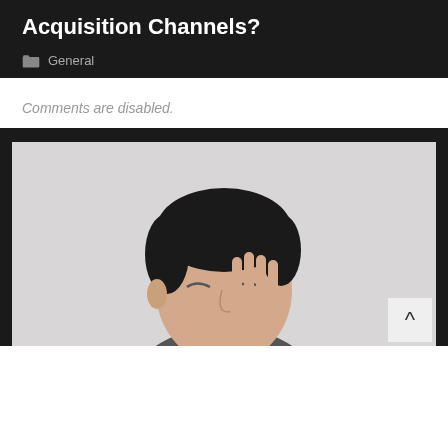Acquisition Channels?
General
Comments are disabled.
[Figure (photo): Young Asian man with dark hair, eyes closed, hand raised to his face, photographed against a light gray background]